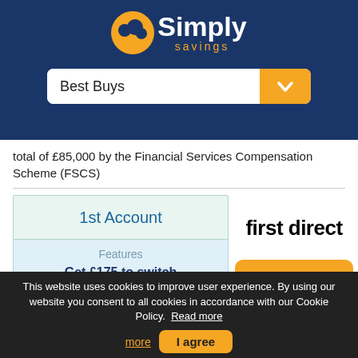[Figure (logo): Simply Savings logo with yellow oval graphic and white text 'Simply' with yellow 'savings' subtitle on dark blue background]
[Figure (screenshot): Best Buys dropdown selector bar, white with gold chevron button]
total of £85,000 by the Financial Services Compensation Scheme (FSCS)
| 1st Account | first direct |
| --- | --- |
| Features |  |
| Get £175 to switch | More info > |
| or £20 to open |  |
| Open With |  |
This website uses cookies to improve user experience. By using our website you consent to all cookies in accordance with our Cookie Policy. Read more
I agree